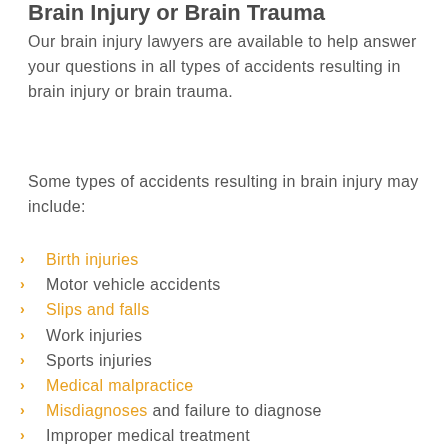Brain Injury or Brain Trauma
Our brain injury lawyers are available to help answer your questions in all types of accidents resulting in brain injury or brain trauma.
Some types of accidents resulting in brain injury may include:
Birth injuries
Motor vehicle accidents
Slips and falls
Work injuries
Sports injuries
Medical malpractice
Misdiagnoses and failure to diagnose
Improper medical treatment
Hospital negligence
Surgical errors